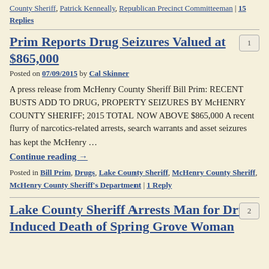County Sheriff, Patrick Kenneally, Republican Precinct Committeeman | 15 Replies
Prim Reports Drug Seizures Valued at $865,000
Posted on 07/09/2015 by Cal Skinner
A press release from McHenry County Sheriff Bill Prim: RECENT BUSTS ADD TO DRUG, PROPERTY SEIZURES BY McHENRY COUNTY SHERIFF; 2015 TOTAL NOW ABOVE $865,000 A recent flurry of narcotics-related arrests, search warrants and asset seizures has kept the McHenry …
Continue reading →
Posted in Bill Prim, Drugs, Lake County Sheriff, McHenry County Sheriff, McHenry County Sheriff's Department | 1 Reply
Lake County Sheriff Arrests Man for Drug-Induced Death of Spring Grove Woman